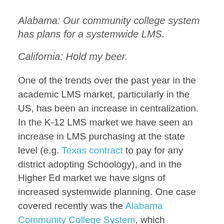Alabama: Our community college system has plans for a systemwide LMS.
California: Hold my beer.
One of the trends over the past year in the academic LMS market, particularly in the US, has been an increase in centralization. In the K-12 LMS market we have seen an increase in LMS purchasing at the state level (e.g. Texas contract to pay for any district adopting Schoology), and in the Higher Ed market we have signs of increased systemwide planning. One case covered recently was the Alabama Community College System, which subsequently voided the RFP results, but we are seeing other efforts. With the pandemic,